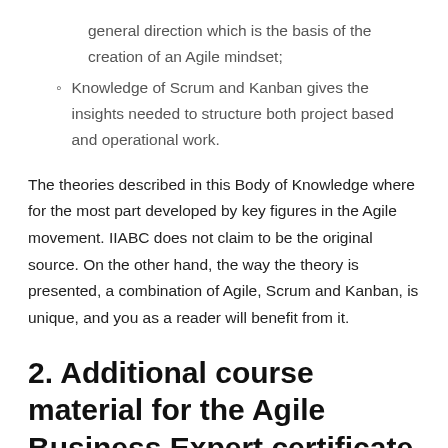general direction which is the basis of the creation of an Agile mindset;
Knowledge of Scrum and Kanban gives the insights needed to structure both project based and operational work.
The theories described in this Body of Knowledge where for the most part developed by key figures in the Agile movement. IIABC does not claim to be the original source. On the other hand, the way the theory is presented, a combination of Agile, Scrum and Kanban, is unique, and you as a reader will benefit from it.
2. Additional course material for the Agile Business Expert certificate
For this certificate the Agile Business Body of Knowledge is also mandatory. In addition, you can expect questions about the